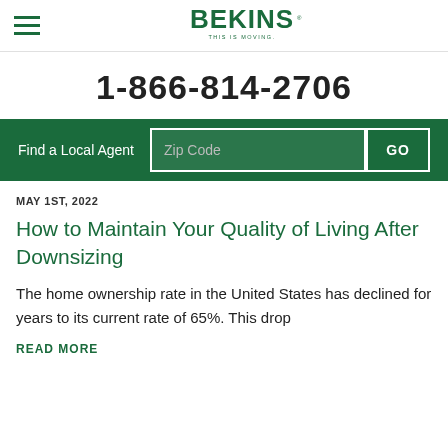Bekins - This Is Moving. 1-866-814-2706
[Figure (logo): Bekins logo with tagline 'THIS IS MOVING.']
1-866-814-2706
Find a Local Agent  Zip Code  GO
MAY 1ST, 2022
How to Maintain Your Quality of Living After Downsizing
The home ownership rate in the United States has declined for years to its current rate of 65%. This drop
READ MORE